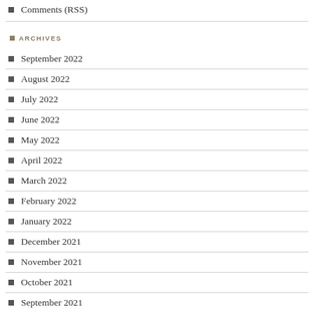Comments (RSS)
ARCHIVES
September 2022
August 2022
July 2022
June 2022
May 2022
April 2022
March 2022
February 2022
January 2022
December 2021
November 2021
October 2021
September 2021